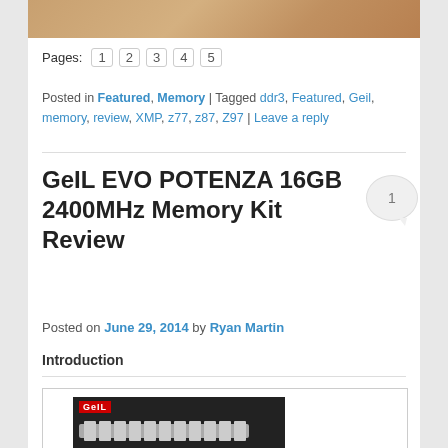[Figure (photo): Top portion of a product image with warm brown/tan colors, partially cropped at top of page]
Pages: 1 2 3 4 5
Posted in Featured, Memory | Tagged ddr3, Featured, Geil, memory, review, XMP, z77, z87, Z97 | Leave a reply
GeIL EVO POTENZA 16GB 2400MHz Memory Kit Review
Posted on June 29, 2014 by Ryan Martin
Introduction
[Figure (photo): Product box image showing GeIL memory kit packaging with black background and geil logo in red]